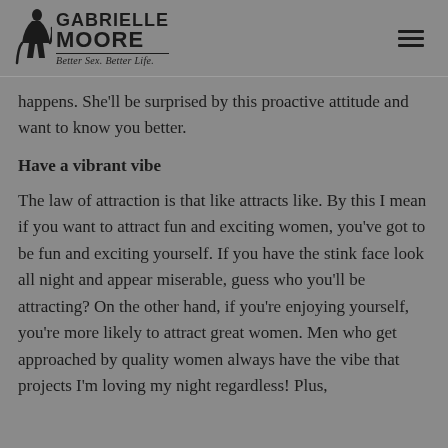GABRIELLE MOORE — Better Sex. Better Life.
happens. She'll be surprised by this proactive attitude and want to know you better.
Have a vibrant vibe
The law of attraction is that like attracts like. By this I mean if you want to attract fun and exciting women, you've got to be fun and exciting yourself. If you have the stink face look all night and appear miserable, guess who you'll be attracting? On the other hand, if you're enjoying yourself, you're more likely to attract great women. Men who get approached by quality women always have the vibe that projects I'm loving my night regardless! Plus,